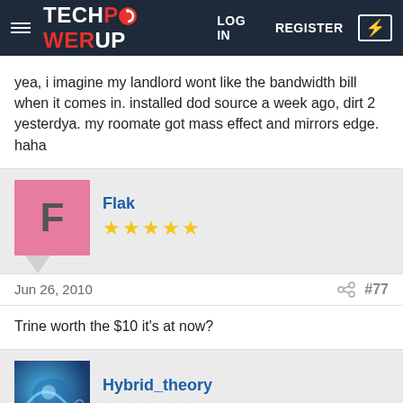TECHPOWERUP — LOG IN  REGISTER
yea, i imagine my landlord wont like the bandwidth bill when it comes in. installed dod source a week ago, dirt 2 yesterdya. my roomate got mass effect and mirrors edge. haha
Flak ★★★★★
Jun 26, 2010  #77
Trine worth the $10 it's at now?
Hybrid_theory ★★★★★
Jun 26, 2010  #78
Flak said: